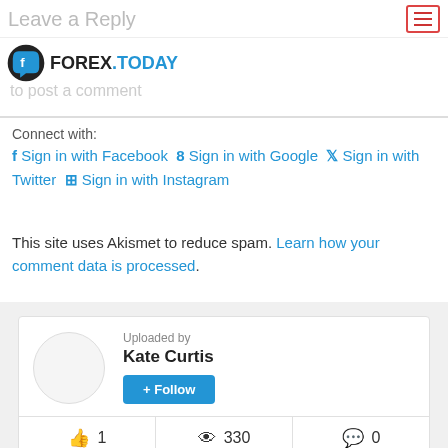Leave a Reply
[Figure (logo): Forex.Today logo with circular icon and text]
to post a comment
Connect with:
Sign in with Facebook  Sign in with Google  Sign in with Twitter  Sign in with Instagram
This site uses Akismet to reduce spam. Learn how your comment data is processed.
Uploaded by
Kate Curtis
+ Follow
1
330
0